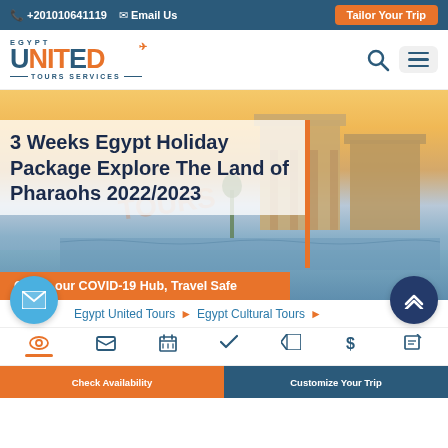+201010641119  Email Us  Tailor Your Trip
[Figure (logo): Egypt United Tours Services logo with airplane icon]
[Figure (photo): Hero image of Egypt temple/Philae temple on waterfront with sunset background]
3 Weeks Egypt Holiday Package Explore The Land of Pharaohs 2022/2023
Check our COVID-19 Hub, Travel Safe
Egypt United Tours  ▶  Egypt Cultural Tours  ▶
Check Availability   Customize Your Trip